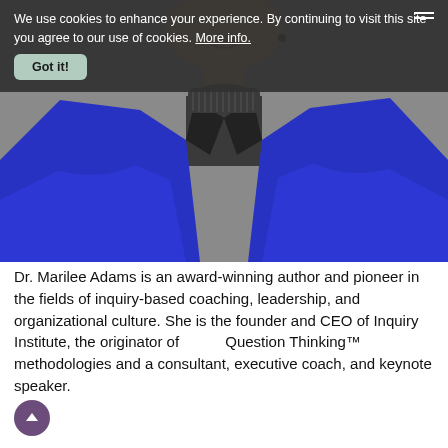We use cookies to enhance your experience. By continuing to visit this site you agree to our use of cookies. More info.
[Figure (photo): Professional headshot of Dr. Marilee Adams wearing a bright blue blazer over a dark turtleneck, smiling, photographed from chest up against a neutral background.]
Dr. Marilee Adams is an award-winning author and pioneer in the fields of inquiry-based coaching, leadership, and organizational culture. She is the founder and CEO of Inquiry Institute, the originator of Question Thinking™ methodologies and a consultant, executive coach, and keynote speaker.